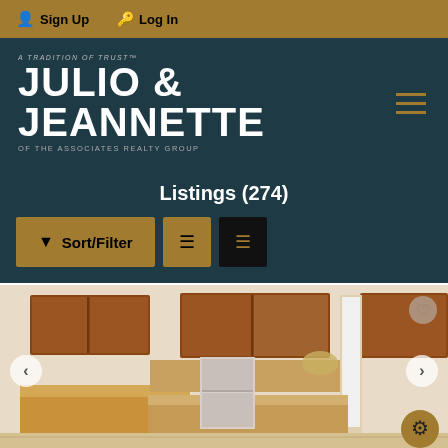Sign Up  Log In
[Figure (logo): Julio & Jeannette of The Associates Realty Group logo on dark teal background with hamburger menu icon]
Listings (274)
[Figure (screenshot): Sort/Filter button and list view toggle buttons on dark teal background]
[Figure (photo): Interior kitchen photo showing wooden cabinets, granite countertops, stainless steel appliances, and large kitchen island with navigation arrows and heart/settings icons]